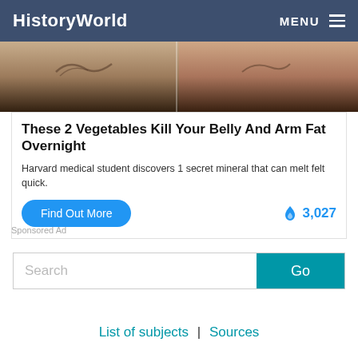HistoryWorld  MENU
[Figure (photo): Cropped photo showing two people's midsections with tattoos, wearing dark pants — a before/after style advertisement image]
These 2 Vegetables Kill Your Belly And Arm Fat Overnight
Harvard medical student discovers 1 secret mineral that can melt felt quick.
Find Out More   🔥 3,027
Sponsored Ad
Search  Go
List of subjects | Sources